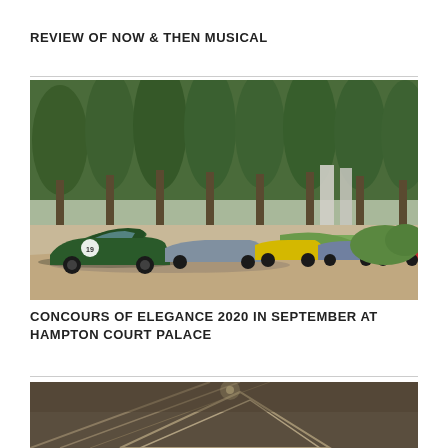REVIEW OF NOW & THEN MUSICAL
[Figure (photo): A row of classic and modern cars parked on a gravel driveway in a garden setting with large trees in the background. The lead car is a dark green vintage racing car with the number 19 on its door, followed by a line of sports cars in various colors including yellow, red, and grey.]
CONCOURS OF ELEGANCE 2020 IN SEPTEMBER AT HAMPTON COURT PALACE
[Figure (photo): Partial view of an interior space with geometric ceiling design featuring angular lines and recessed lighting.]